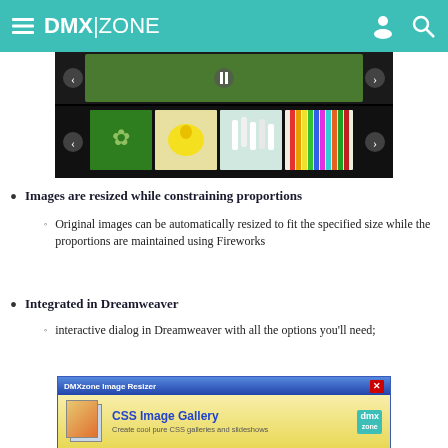DMX|ZONE
[Figure (screenshot): Image slideshow gallery screenshot showing thumbnails of nature photos (green leaves, yellow flower, white tulips, colored pencils) on a black background with navigation arrows]
Images are resized while constraining proportions
Original images can be automatically resized to fit the specified size while the proportions are maintained using Fireworks
Integrated in Dreamweaver
interactive dialog in Dreamweaver with all the options you'll need;
[Figure (screenshot): DMXzone Image Resizer dialog window showing CSS Image Gallery advertisement - Create cool pure CSS galleries and slideshows]